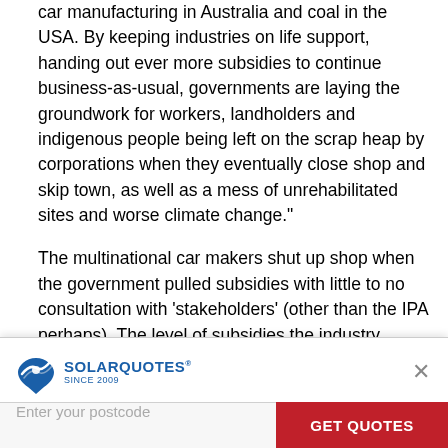car manufacturing in Australia and coal in the USA. By keeping industries on life support, handing out ever more subsidies to continue business-as-usual, governments are laying the groundwork for workers, landholders and indigenous people being left on the scrap heap by corporations when they eventually close shop and skip town, as well as a mess of unrehabilitated sites and worse climate change."
The multinational car makers shut up shop when the government pulled subsidies with little to no consultation with 'stakeholders' (other than the IPA perhaps). The level of subsidies the industry received was minor compared with what fossil fuel industries pull ($7.7b this FY alone) and the car industry was a critical part of maintaining manufacturing capacity and expertise in Australia.
If you think all industry protection is bad I suggest the book "Bad Samaritans: The Myth of Free Trade and the Secret
[Figure (screenshot): SolarQuotes advertisement banner with logo, 'Enter your postcode' input field, and red 'GET QUOTES' button. Close (X) button in top right.]